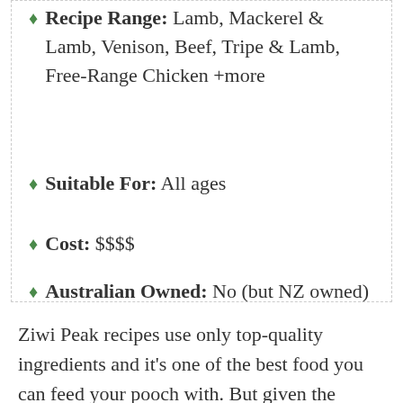Recipe Range: Lamb, Mackerel & Lamb, Venison, Beef, Tripe & Lamb, Free-Range Chicken +more
Suitable For: All ages
Cost: $$$$
Australian Owned: No (but NZ owned)
Ziwi Peak recipes use only top-quality ingredients and it’s one of the best food you can feed your pooch with. But given the